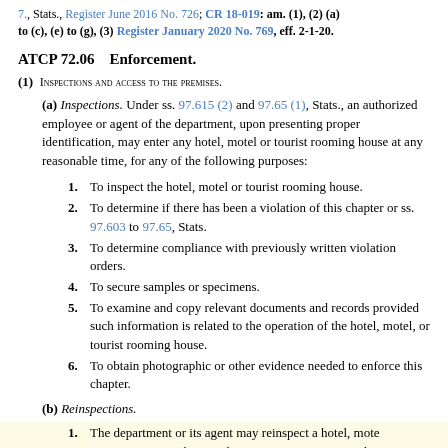7., Stats., Register June 2016 No. 726; CR 18-019: am. (1), (2) (a) to (c), (e) to (g), (3) Register January 2020 No. 769, eff. 2-1-20.
ATCP 72.06    Enforcement.
(1) INSPECTIONS AND ACCESS TO THE PREMISES.
(a) Inspections. Under ss. 97.615 (2) and 97.65 (1), Stats., an authorized employee or agent of the department, upon presenting proper identification, may enter any hotel, motel or tourist rooming house at any reasonable time, for any of the following purposes:
1. To inspect the hotel, motel or tourist rooming house.
2. To determine if there has been a violation of this chapter or ss. 97.603 to 97.65, Stats.
3. To determine compliance with previously written violation orders.
4. To secure samples or specimens.
5. To examine and copy relevant documents and records provided such information is related to the operation of the hotel, motel, or tourist rooming house.
6. To obtain photographic or other evidence needed to enforce this chapter.
(b) Reinspections.
1. The department or its agent may reinspect a hotel, motel or tourist rooming house whenever an inspection, or the